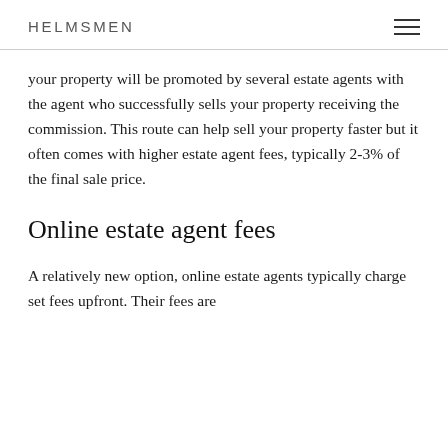HELMSMEN
your property will be promoted by several estate agents with the agent who successfully sells your property receiving the commission. This route can help sell your property faster but it often comes with higher estate agent fees, typically 2-3% of the final sale price.
Online estate agent fees
A relatively new option, online estate agents typically charge set fees upfront. Their fees are